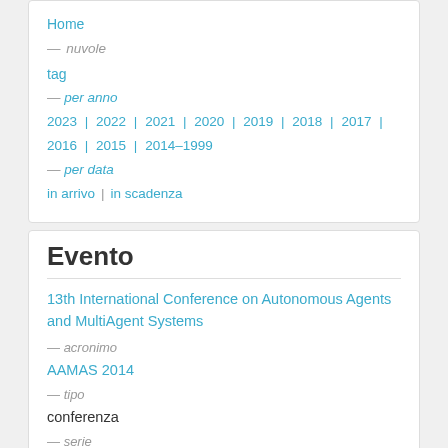Home
— nuvole
tag
— per anno
2023 | 2022 | 2021 | 2020 | 2019 | 2018 | 2017 | 2016 | 2015 | 2014–1999
— per data
in arrivo | in scadenza
Evento
13th International Conference on Autonomous Agents and MultiAgent Systems
— acronimo
AAMAS 2014
— tipo
conferenza
— serie
AAMAS (13th, 2014)
— dove